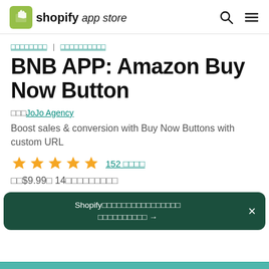shopify app store
□□□□□□□□ | □□□□□□□□□□
BNB APP: Amazon Buy Now Button
□□□JoJo Agency
Boost sales & conversion with Buy Now Buttons with custom URL
★★★★★ 152 □□□□
□□$9.99□ 14□□□□□□□□□
Shopify□□□□□□□□□□□□□□□□ □□□□□□□□□□ →